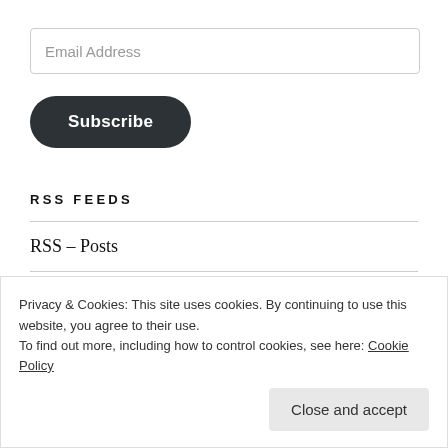Email Address
Subscribe
RSS FEEDS
RSS – Posts
RSS – Comments
Privacy & Cookies: This site uses cookies. By continuing to use this website, you agree to their use.
To find out more, including how to control cookies, see here: Cookie Policy
Close and accept